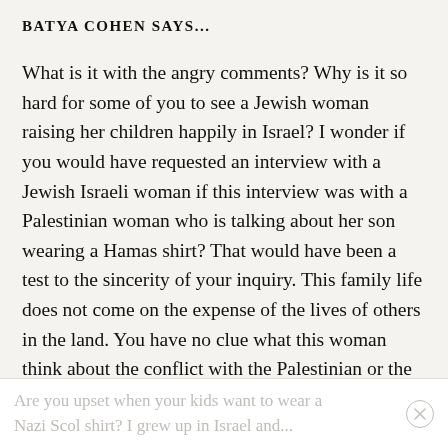BATYA COHEN SAYS...
What is it with the angry comments? Why is it so hard for some of you to see a Jewish woman raising her children happily in Israel? I wonder if you would have requested an interview with a Jewish Israeli woman if this interview was with a Palestinian woman who is talking about her son wearing a Hamas shirt? That would have been a test to the sincerity of your inquiry. This family life does not come on the expense of the lives of others in the land. You have no clue what this woman think about the conflict with the Palestinian or the Arab world, or what is her political view. Yet, you rush to make judgement because her son wanted to wear an IDF shirt?
Are you upset when your kids want to wear a Nazi Scol shirt? I grew up in Israel and...